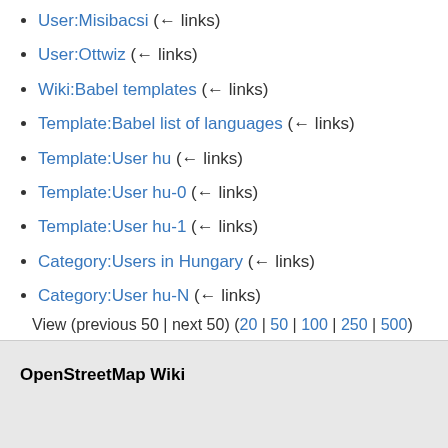User:Misibacsi  (← links)
User:Ottwiz  (← links)
Wiki:Babel templates  (← links)
Template:Babel list of languages  (← links)
Template:User hu  (← links)
Template:User hu-0  (← links)
Template:User hu-1  (← links)
Category:Users in Hungary  (← links)
Category:User hu-N  (← links)
View (previous 50 | next 50) (20 | 50 | 100 | 250 | 500)
OpenStreetMap Wiki